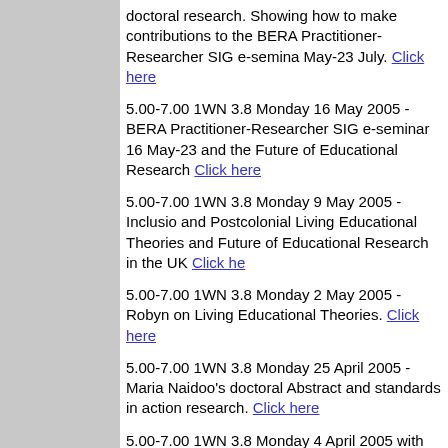doctoral research. Showing how to make contributions to the BERA Practitioner-Researcher SIG e-seminar 16 May-23 July. Click here
5.00-7.00 1WN 3.8 Monday 16 May 2005 - BERA Practitioner-Researcher SIG e-seminar 16 May-23 and the Future of Educational Research Click here
5.00-7.00 1WN 3.8 Monday 9 May 2005 - Inclusion and Postcolonial Living Educational Theories and Future of Educational Research in the UK Click here
5.00-7.00 1WN 3.8 Monday 2 May 2005 - Robyn on Living Educational Theories. Click here
5.00-7.00 1WN 3.8 Monday 25 April 2005 - Maria Naidoo's doctoral Abstract and standards in action research. Click here
5.00-7.00 1WN 3.8 Monday 4 April 2005 with Ma Naidoo. Click here
5.00-7.00 1WN 3.8 Monday 14 March 2005. Click here
5.00-7.00 1WN 3.8 Monday 7 March 2005. Click here